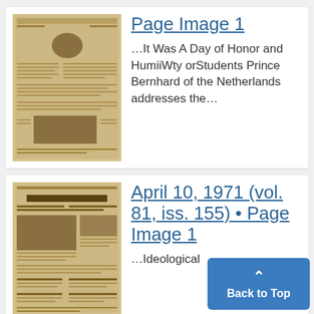[Figure (photo): Thumbnail image of a historical newspaper front page, yellowed/sepia toned]
Page Image 1
…It Was A Day of Honor and HumiiWty orStudents Prince Bernhard of the Netherlands addresses the…
[Figure (photo): Thumbnail image of The Michigan Daily front page, April 10 1971, yellowed/sepia toned]
April 10, 1971 (vol. 81, iss. 155) • Page Image 1
…Ideological